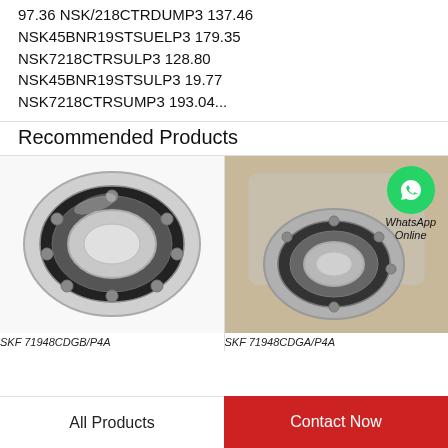197.36 NSK/218CTRDUMP3 ¤137.46 NSK45BNR19STSUELP3 ¤179.35 NSK7218CTRSULP3 ¤128.80 NSK45BNR19STSULP3 ¤19.77 NSK7218CTRSUMP3 ¤193.04...
Recommended Products
[Figure (photo): Photo of a SKF 71948CDGB/P4A angular contact ball bearing, metallic silver and black, on white background]
SKF 71948CDGB/P4A
[Figure (photo): Photo of a SKF 71948CDGA/P4A angular contact ball bearing in plastic packaging with WhatsApp Online overlay]
SKF 71948CDGA/P4A
All Products
Contact Now